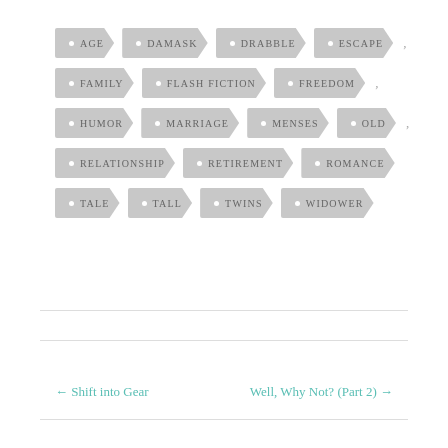[Figure (infographic): Tag cloud with gray arrow/label shaped tags: AGE, DAMASK, DRABBLE, ESCAPE, FAMILY, FLASH FICTION, FREEDOM, HUMOR, MARRIAGE, MENSES, OLD, RELATIONSHIP, RETIREMENT, ROMANCE, TALE, TALL, TWINS, WIDOWER]
← Shift into Gear
Well, Why Not? (Part 2) →